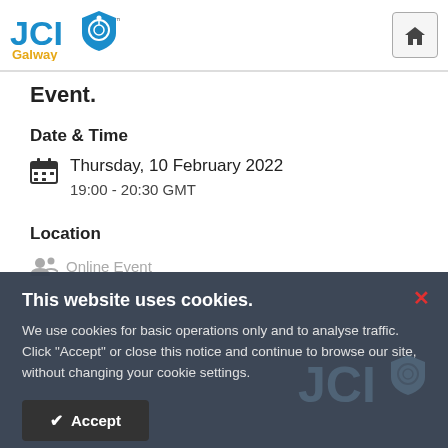JCI Galway
Event.
Date & Time
Thursday, 10 February 2022
19:00 - 20:30 GMT
Location
Online Event
This website uses cookies.
We use cookies for basic operations only and to analyse traffic. Click "Accept" or close this notice and continue to browse our site, without changing your cookie settings.